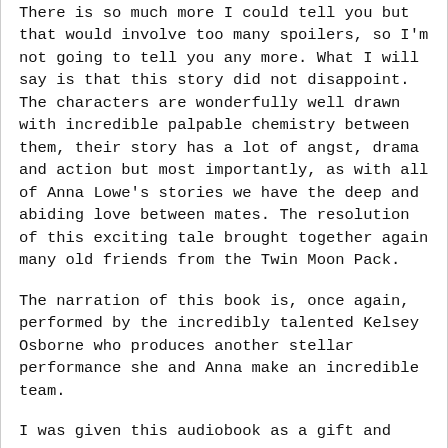There is so much more I could tell you but that would involve too many spoilers, so I'm not going to tell you any more. What I will say is that this story did not disappoint. The characters are wonderfully well drawn with incredible palpable chemistry between them, their story has a lot of angst, drama and action but most importantly, as with all of Anna Lowe's stories we have the deep and abiding love between mates. The resolution of this exciting tale brought together again many old friends from the Twin Moon Pack.
The narration of this book is, once again, performed by the incredibly talented Kelsey Osborne who produces another stellar performance she and Anna make an incredible team.
I was given this audiobook as a gift and